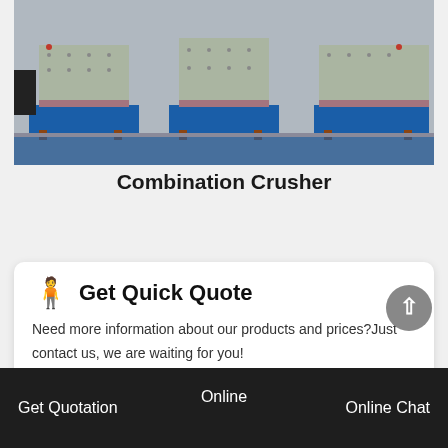[Figure (photo): Industrial combination crusher machines with blue steel bases and yellow bodies wrapped in protective plastic sheeting, parked on a concrete surface.]
Combination Crusher
Get Quick Quote
Need more information about our products and prices?Just contact us, we are waiting for you!
Online | Get Quotation | Online Chat